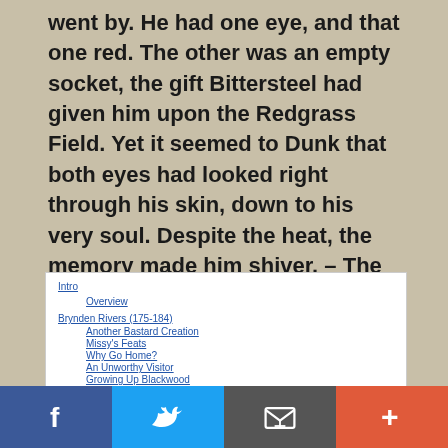went by. He had one eye, and that one red. The other was an empty socket, the gift Bittersteel had given him upon the Redgrass Field. Yet it seemed to Dunk that both eyes had looked right through his skin, down to his very soul. Despite the heat, the memory made him shiver. – The Sworn Sword
Intro
Overview
Brynden Rivers (175-184)
Another Bastard Creation
Missy's Feats
Why Go Home?
An Unworthy Visitor
Growing Up Blackwood
A Raven Crown (104-196)
A White Dragon
Kept Close
The Raven's Tooth
Morolt